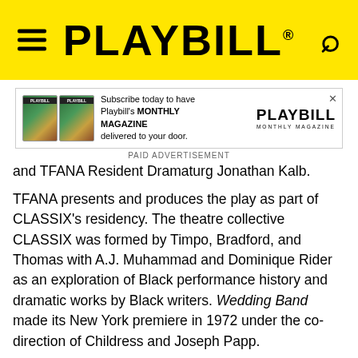PLAYBILL
[Figure (screenshot): Playbill Monthly Magazine advertisement banner with two Playbill magazine covers, subscription text, and Playbill Monthly Magazine logo]
PAID ADVERTISEMENT
and TFANA Resident Dramaturg Jonathan Kalb.
TFANA presents and produces the play as part of CLASSIX's residency. The theatre collective CLASSIX was formed by Timpo, Bradford, and Thomas with A.J. Muhammad and Dominique Rider as an exploration of Black performance history and dramatic works by Black writers. Wedding Band made its New York premiere in 1972 under the co-direction of Childress and Joseph Papp.
For tickets and more information, visit TFANA.org.